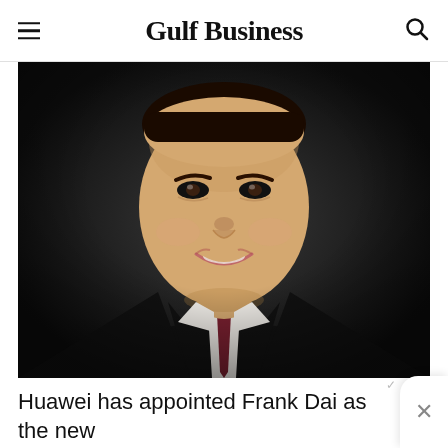Gulf Business
[Figure (photo): Professional headshot of Frank Dai, a man in a dark suit with white shirt and dark red tie, against a dark background, smiling.]
Huawei has appointed Frank Dai as the new